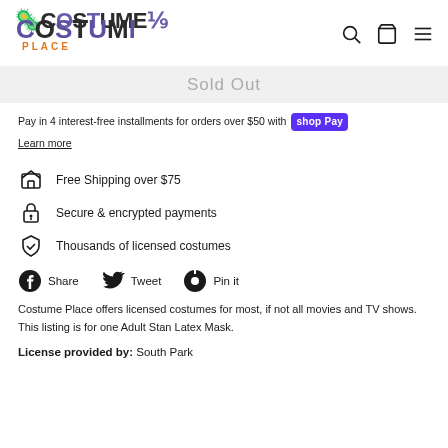Costume Place
Sold Out
Pay in 4 interest-free installments for orders over $50 with shop Pay
Learn more
Free Shipping over $75
Secure & encrypted payments
Thousands of licensed costumes
Share  Tweet  Pin it
Costume Place offers licensed costumes for most, if not all movies and TV shows. This listing is for one Adult Stan Latex Mask.
License provided by: South Park